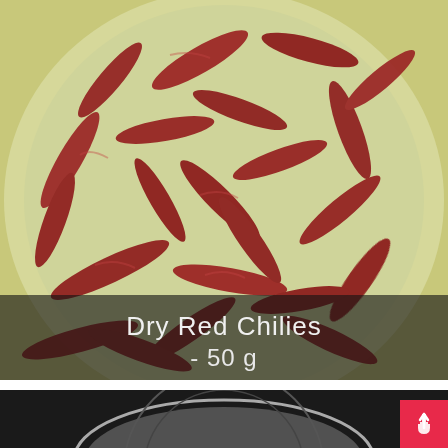[Figure (photo): A plate/bowl filled with dry red chilies, viewed from above. The chilies are dark red-brown, wrinkled and dried. The plate has a light greenish-white color visible at the edges. A text overlay at the bottom of the image reads 'Dry Red Chilies' and '- 50 g' in white text on a semi-transparent dark banner.]
Dry Red Chilies
- 50 g
[Figure (photo): Partially visible bottom image showing a dark pan or cooking vessel on a stove, partially cropped.]